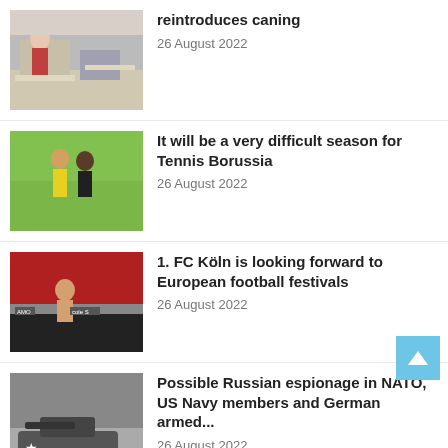[Figure (photo): Classroom scene with people sitting at desks]
reintroduces caning
26 August 2022
[Figure (photo): Two soccer players, one in yellow jersey and one in black, competing on field]
It will be a very difficult season for Tennis Borussia
26 August 2022
[Figure (photo): Soccer fans celebrating near stadium barriers, shirtless fans visible]
1. FC Köln is looking forward to European football festivals
26 August 2022
[Figure (photo): Military tank with gun turret]
Possible Russian espionage in NATO, US Navy members and German armed...
26 August 2022
[Figure (photo): Partial image of green outdoor scene at bottom of page]